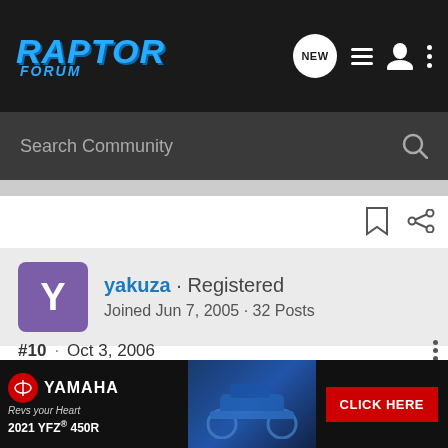RAPTOR FORUM
Search Community
yakuza · Registered
Joined Jun 7, 2005 · 32 Posts
#10 · Oct 3, 2006
I'm not a big fan of flipped wheels anymore either. I used to be, and swore by them for a while. Then I snapped TWO outer tie rod ends the same day. You get really bad bump steer with the wheels flipped, and if you come across a bad rut it's gonna get crossed up... and that's a good time to use me, if you rid... ...ng to snap on... ...ds with
[Figure (screenshot): Yamaha 2021 YFZ 450R advertisement banner with CLICK HERE button]